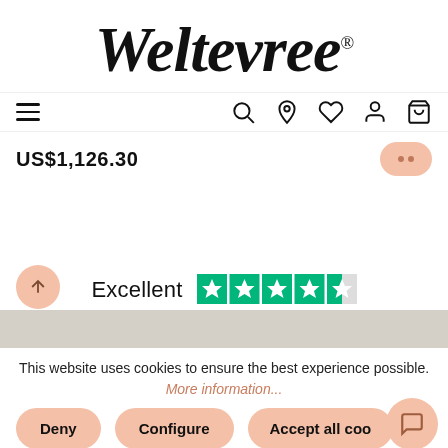[Figure (logo): Weltevree brand logo in large italic serif font with registered trademark symbol]
[Figure (screenshot): Navigation bar with hamburger menu on left and icons (search, location, wishlist, account, cart) on right]
US$1,126.30
Excellent
[Figure (illustration): Trustpilot 4.5 star rating displayed as green star icons]
This website uses cookies to ensure the best experience possible.
More information...
Deny
Configure
Accept all coo...